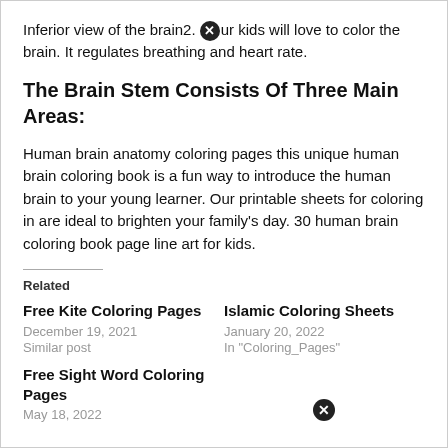Inferior view of the brain2. [X] ur kids will love to color the brain. It regulates breathing and heart rate.
The Brain Stem Consists Of Three Main Areas:
Human brain anatomy coloring pages this unique human brain coloring book is a fun way to introduce the human brain to your young learner. Our printable sheets for coloring in are ideal to brighten your family’s day. 30 human brain coloring book page line art for kids.
Related
Free Kite Coloring Pages
December 19, 2021
Similar post
Islamic Coloring Sheets
January 20, 2022
In "Coloring_Pages"
Free Sight Word Coloring Pages
May 18, 2022